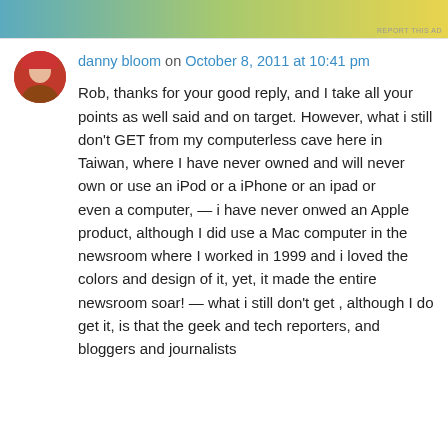[Figure (other): Advertisement banner with teal, green, and yellow gradient colors, with 'REPORT THIS AD' text in bottom right]
danny bloom on October 8, 2011 at 10:41 pm
Rob, thanks for your good reply, and I take all your points as well said and on target. However, what i still don't GET from my computerless cave here in Taiwan, where I have never owned and will never own or use an iPod or a iPhone or an ipad or

even a computer, — i have never onwed an Apple product, although I did use a Mac computer in the newsroom where I worked in 1999 and i loved the colors and design of it, yet, it made the entire newsroom soar! — what i still don't get , although I do get it, is that the geek and tech reporters, and bloggers and journalists